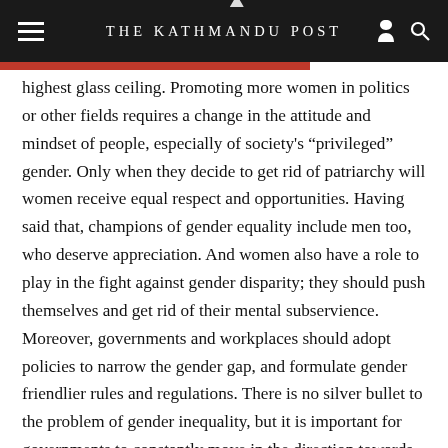THE KATHMANDU POST
highest glass ceiling. Promoting more women in politics or other fields requires a change in the attitude and mindset of people, especially of society’s “privileged” gender. Only when they decide to get rid of patriarchy will women receive equal respect and opportunities. Having said that, champions of gender equality include men too, who deserve appreciation. And women also have a role to play in the fight against gender disparity; they should push themselves and get rid of their mental subservience. Moreover, governments and workplaces should adopt policies to narrow the gender gap, and formulate gender friendlier rules and regulations. There is no silver bullet to the problem of gender inequality, but it is important for governments to constantly move in the direction towards achieving equality.

Women are being integrated into a world that remains